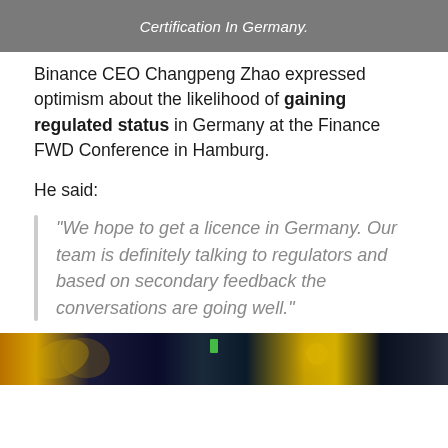Certification In Germany.
Binance CEO Changpeng Zhao expressed optimism about the likelihood of gaining regulated status in Germany at the Finance FWD Conference in Hamburg.
He said:
“We hope to get a licence in Germany. Our team is definitely talking to regulators and based on secondary feedback the conversations are going well.”
[Figure (photo): Dark background photo showing stage or event lighting with yellow/orange lights and a green indicator light, possibly from the Finance FWD Conference event.]